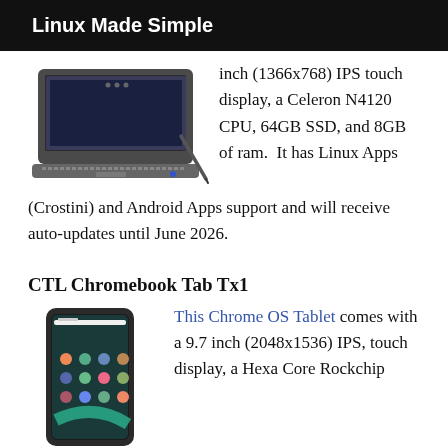Linux Made Simple
[Figure (photo): Photo of a Chromebook laptop with keyboard and stylus]
inch (1366x768) IPS touch display, a Celeron N4120 CPU, 64GB SSD, and 8GB of ram.  It has Linux Apps (Crostini) and Android Apps support and will receive auto-updates until June 2026.
CTL Chromebook Tab Tx1
[Figure (photo): Photo of a Chrome OS tablet (CTL Chromebook Tab Tx1)]
This Chrome OS Tablet comes with a 9.7 inch (2048x1536) IPS, touch display, a Hexa Core Rockchip